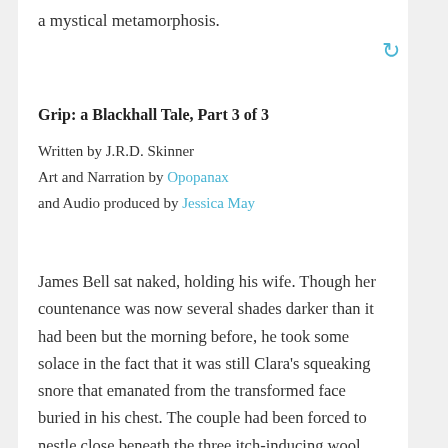a mystical metamorphosis.
Grip: a Blackhall Tale, Part 3 of 3
Written by J.R.D. Skinner
Art and Narration by Opopanax
and Audio produced by Jessica May
James Bell sat naked, holding his wife. Though her countenance was now several shades darker than it had been but the morning before, he took some solace in the fact that it was still Clara's squeaking snore that emanated from the transformed face buried in his chest. The couple had been forced to nestle close beneath the three itch-inducing wool blankets that had been nailed to the floor at their lowest edges, especially as the second gale of the morning set to rocking the shanty's timbers, but James had found no respite under the